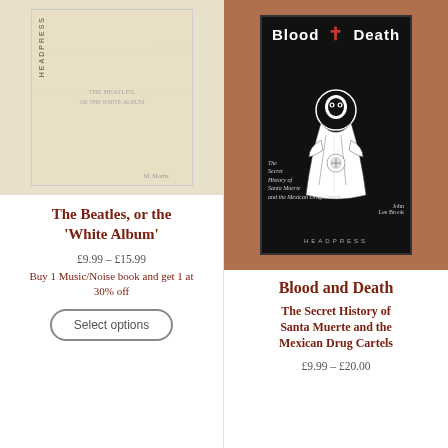[Figure (photo): Book cover of 'The Beatles, or the White Album' with aged cream/beige paper look and Headpress label on spine]
The Beatles, or the 'White Album'
£9.99 – £15.99
Buy 1 Music/Noise book and get 1 at 30% off
Select options
[Figure (photo): Book cover of 'Blood and Death: The Secret History of Santa Muerte and the Mexican Drug Cartels' by John Lee Brook, published by Headpress. Black cover with white illustration of Santa Muerte figure, red cross at top.]
Blood and Death
The Secret History of Santa Muerte and the Mexican Drug Cartels
£9.99 – £20.00